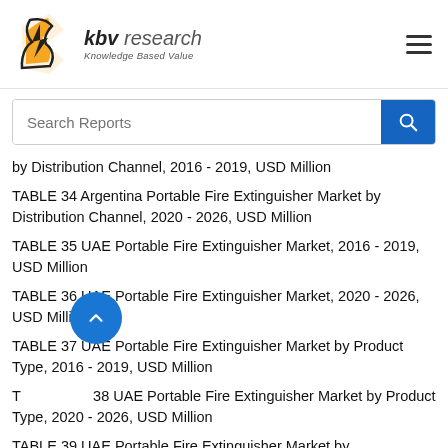[Figure (logo): KBV Research logo with orange and black icon and text 'kbv research Knowledge Based Value']
[Figure (other): Hamburger menu icon (three horizontal lines)]
[Figure (other): Search bar with placeholder 'Search Reports' and blue search button with magnifying glass icon]
by Distribution Channel, 2016 - 2019, USD Million
TABLE 34 Argentina Portable Fire Extinguisher Market by Distribution Channel, 2020 - 2026, USD Million
TABLE 35 UAE Portable Fire Extinguisher Market, 2016 - 2019, USD Million
TABLE 36 UAE Portable Fire Extinguisher Market, 2020 - 2026, USD Million
TABLE 37 UAE Portable Fire Extinguisher Market by Product Type, 2016 - 2019, USD Million
TABLE 38 UAE Portable Fire Extinguisher Market by Product Type, 2020 - 2026, USD Million
TABLE 39 UAE Portable Fire Extinguisher Market by